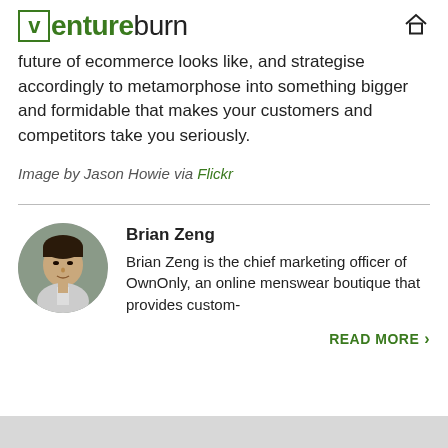ventureburn
future of ecommerce looks like, and strategise accordingly to metamorphose into something bigger and formidable that makes your customers and competitors take you seriously.
Image by Jason Howie via Flickr
Brian Zeng
Brian Zeng is the chief marketing officer of OwnOnly, an online menswear boutique that provides custom-
READ MORE